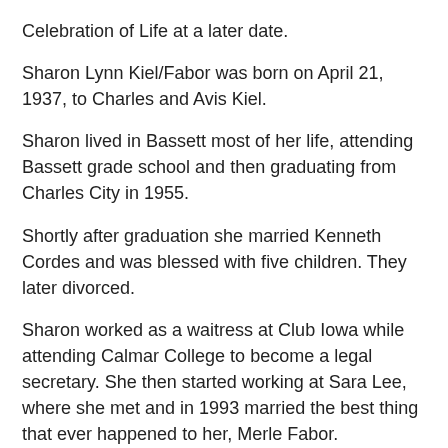Celebration of Life at a later date.
Sharon Lynn Kiel/Fabor was born on April 21, 1937, to Charles and Avis Kiel.
Sharon lived in Bassett most of her life, attending Bassett grade school and then graduating from Charles City in 1955.
Shortly after graduation she married Kenneth Cordes and was blessed with five children. They later divorced.
Sharon worked as a waitress at Club Iowa while attending Calmar College to become a legal secretary. She then started working at Sara Lee, where she met and in 1993 married the best thing that ever happened to her, Merle Fabor.
Sharon retired from Sara Lee after 30-plus years and together they enjoyed life, traveling, visiting every